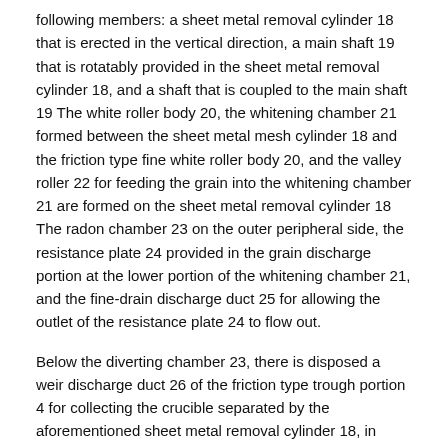following members: a sheet metal removal cylinder 18 that is erected in the vertical direction, a main shaft 19 that is rotatably provided in the sheet metal removal cylinder 18, and a shaft that is coupled to the main shaft 19 The white roller body 20, the whitening chamber 21 formed between the sheet metal mesh cylinder 18 and the friction type fine white roller body 20, and the valley roller 22 for feeding the grain into the whitening chamber 21 are formed on the sheet metal removal cylinder 18 The radon chamber 23 on the outer peripheral side, the resistance plate 24 provided in the grain discharge portion at the lower portion of the whitening chamber 21, and the fine-drain discharge duct 25 for allowing the outlet of the resistance plate 24 to flow out.
Below the diverting chamber 23, there is disposed a weir discharge duct 26 of the friction type trough portion 4 for collecting the crucible separated by the aforementioned sheet metal removal cylinder 18, in which the crucible discharge duct 26 and A pulley 27 is disposed in the communication portion of the mitre chamber 23, and the pulley 27 has a function of generating a fan for removing hurricane by rotation as described above.